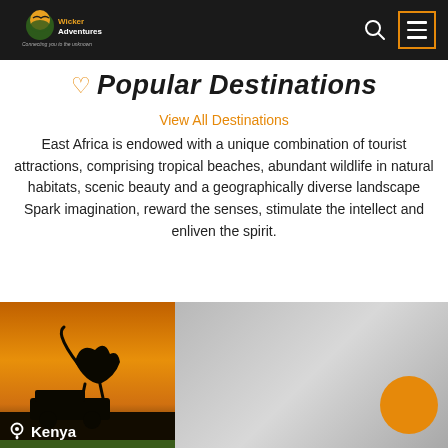Wicker Adventures — navigation bar with logo, search and menu icons
Popular Destinations
View All Destinations
East Africa is endowed with a unique combination of tourist attractions, comprising tropical beaches, abundant wildlife in natural habitats, scenic beauty and a geographically diverse landscape Spark imagination, reward the senses, stimulate the intellect and enliven the spirit.
[Figure (photo): Safari silhouette photo (Kenya) showing a cheetah on a jeep at golden-hour sunset, with text label 'Kenya' and location pin icon at bottom left; right half shows a grey gradient panel with an orange circle element.]